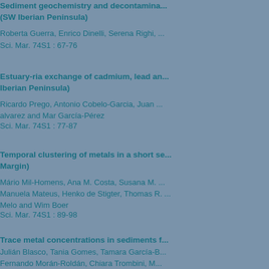Sediment geochemistry and contamination... (SW Iberian Peninsula)
Roberta Guerra, Enrico Dinelli, Serena Righi, ...
Sci. Mar. 74S1 : 67-76
Estuary-ria exchange of cadmium, lead an... Iberian Peninsula)
Ricardo Prego, Antonio Cobelo-Garcia, Juan ... alvarez and Mar García-Pérez
Sci. Mar. 74S1 : 77-87
Temporal clustering of metals in a short se... Margin)
Mário Mil-Homens, Ana M. Costa, Susana M. ... Manuela Mateus, Henko de Stigter, Thomas R. ... Melo and Wim Boer
Sci. Mar. 74S1 : 89-98
Trace metal concentrations in sediments f...
Julián Blasco, Tania Gomes, Tamara García-B... Fernando Morán-Roldán, Chiara Trombini, M... Bebianno
Sci. Mar. 74S1 : 99-106